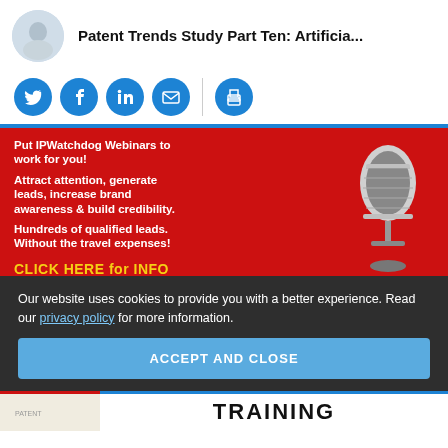Patent Trends Study Part Ten: Artificia...
[Figure (infographic): Social sharing buttons: Twitter, Facebook, LinkedIn, Email (with divider), Print]
[Figure (infographic): IPWatchdog Webinar advertisement banner on red background with microphone image. Text: Put IPWatchdog Webinars to work for you! Attract attention, generate leads, increase brand awareness & build credibility. Hundreds of qualified leads. Without the travel expenses! CLICK HERE for INFO]
Our website uses cookies to provide you with a better experience. Read our privacy policy for more information.
ACCEPT AND CLOSE
[Figure (infographic): Bottom strip showing partial text: PATENT TRAINING]